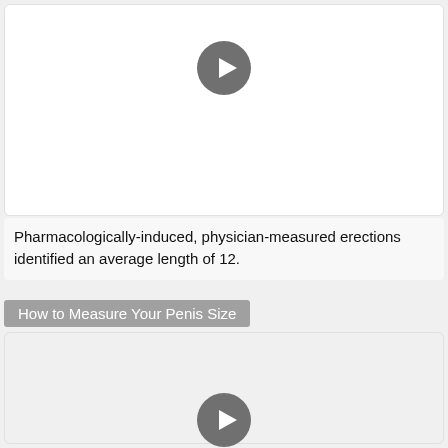[Figure (screenshot): Video player placeholder with gray play button circle, white background]
Pharmacologically-induced, physician-measured erections identified an average length of 12.
How to Measure Your Penis Size
[Figure (screenshot): Video player placeholder with gray play button circle, light gray background]